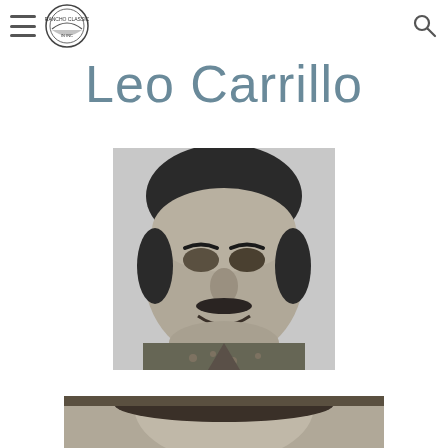Navigation header with hamburger menu, ranch classic logo, and search icon
Leo Carrillo
[Figure (photo): Black and white close-up portrait photo of Leo Carrillo, a man with dark curly hair, mustache, wearing a patterned shirt, smiling]
[Figure (photo): Partial black and white photo at bottom of page, cropped, appears to show Leo Carrillo in another pose]